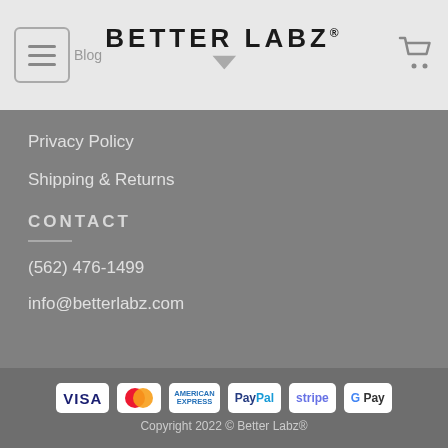BETTER LABZ®
Privacy Policy
Shipping & Returns
CONTACT
(562) 476-1499
info@betterlabz.com
Copyright 2022 © Better Labz®